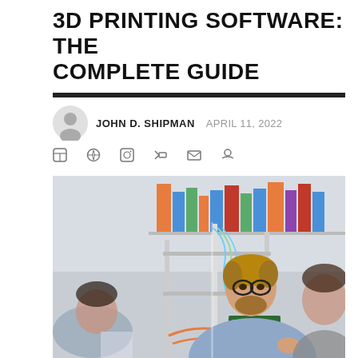3D PRINTING SOFTWARE: THE COMPLETE GUIDE
JOHN D. SHIPMAN   APRIL 11, 2022
[Figure (photo): A man with glasses and beard closely examining and adjusting a 3D printer in a workshop/lab setting, with other people working in the background near bookshelves.]